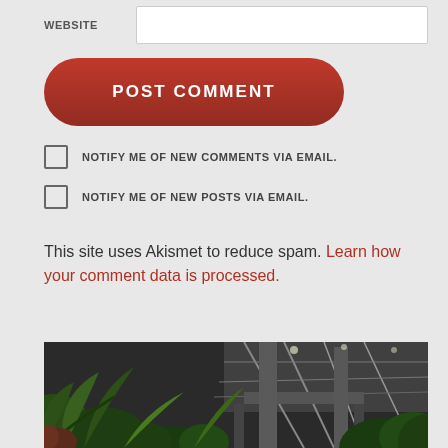WEBSITE
POST COMMENT
NOTIFY ME OF NEW COMMENTS VIA EMAIL.
NOTIFY ME OF NEW POSTS VIA EMAIL.
This site uses Akismet to reduce spam. Learn how your comment data is processed.
[Figure (photo): Interior of a greenhouse or botanical garden conservatory with lush tropical ferns and palm plants in the foreground and a large structural steel and glass ceiling/roof visible in the background, dark HDR-style photography]